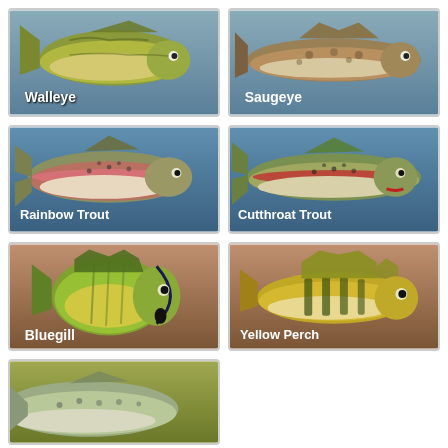[Figure (illustration): Walleye fish illustration on blue-grey gradient background]
[Figure (illustration): Saugeye fish illustration on blue-grey gradient background]
[Figure (illustration): Rainbow Trout fish illustration on blue gradient background]
[Figure (illustration): Cutthroat Trout fish illustration on blue gradient background]
[Figure (illustration): Bluegill fish illustration on brown gradient background]
[Figure (illustration): Yellow Perch fish illustration on brown gradient background]
[Figure (illustration): Partial fish illustration on olive-green gradient background (cropped)]